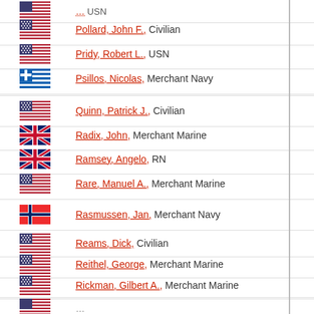Pollard, John F., Civilian
Pridy, Robert L., USN
Psillos, Nicolas, Merchant Navy
Quinn, Patrick J., Civilian
Radix, John, Merchant Marine
Ramsey, Angelo, RN
Rare, Manuel A., Merchant Marine
Rasmussen, Jan, Merchant Navy
Reams, Dick, Civilian
Reithel, George, Merchant Marine
Rickman, Gilbert A., Merchant Marine
Rivarde, Alvin A., Merchant Marine
Rivera, Roberto, Merchant Marine